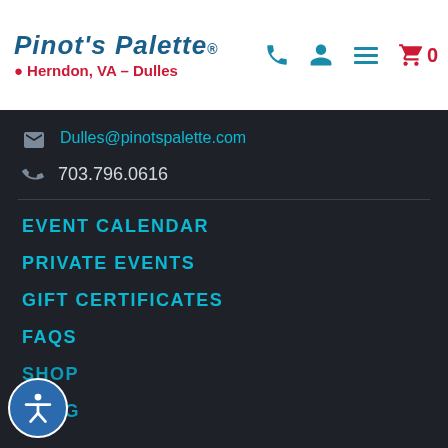Pinot's Palette – Herndon, VA - Dulles
Dulles@pinotspalette.com
703.796.0616
EVENT CALENDAR
PRIVATE EVENTS
GIFT CERTIFICATES
FAQS
SHOP
BLOG